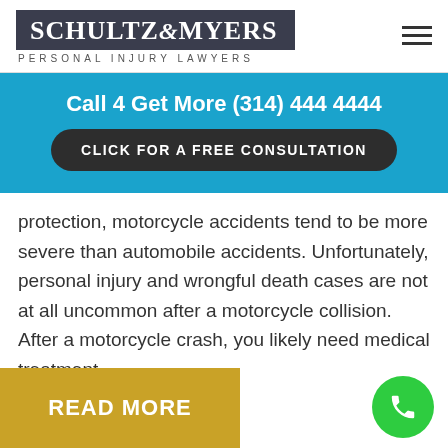[Figure (logo): Schultz & Myers Personal Injury Lawyers logo with dark background and hamburger menu icon]
Call 4 Get More (314) 444 4444
CLICK FOR A FREE CONSULTATION
protection, motorcycle accidents tend to be more severe than automobile accidents. Unfortunately, personal injury and wrongful death cases are not at all uncommon after a motorcycle collision.  After a motorcycle crash, you likely need medical treatment...
READ MORE